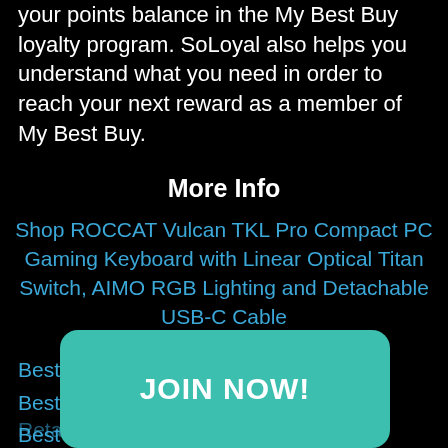your points balance in the My Best Buy loyalty program. SoLoyal also helps you understand what you need in order to reach your next reward as a member of My Best Buy.
More Info
Shop ROCCAT Vulcan TKL Pro Compact PC Gaming Keyboard with Linear Optical Titan Switch, AIMO RGB Lighting and Detachable USB-C Cable
Best Buy Home
Best Buy Rewards
Best Buy Wikipedia
Best Buy on SoLoyal
Reta...
Cont...
JOIN NOW!